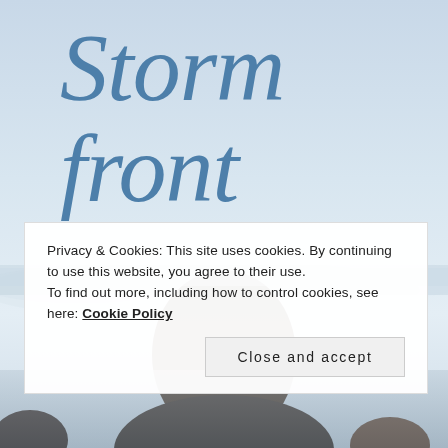[Figure (photo): Book cover image showing a pale blue sky with clouds in the upper portion, and the back of a woman's head with dark hair in the lower half. The scene has a wintry, overcast mood.]
Storm front
Privacy & Cookies: This site uses cookies. By continuing to use this website, you agree to their use.
To find out more, including how to control cookies, see here: Cookie Policy
Close and accept